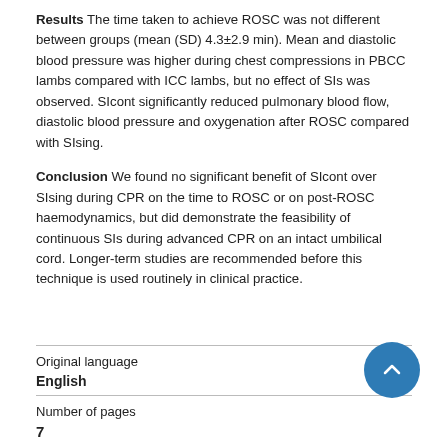Results The time taken to achieve ROSC was not different between groups (mean (SD) 4.3±2.9 min). Mean and diastolic blood pressure was higher during chest compressions in PBCC lambs compared with ICC lambs, but no effect of SIs was observed. SIcont significantly reduced pulmonary blood flow, diastolic blood pressure and oxygenation after ROSC compared with SIsing.
Conclusion We found no significant benefit of SIcont over SIsing during CPR on the time to ROSC or on post-ROSC haemodynamics, but did demonstrate the feasibility of continuous SIs during advanced CPR on an intact umbilical cord. Longer-term studies are recommended before this technique is used routinely in clinical practice.
| Original language |  |
| English |  |
| Number of pages |  |
| 7 |  |